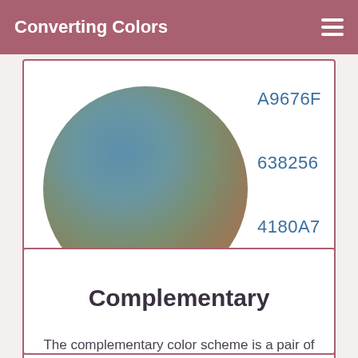Converting Colors
[Figure (illustration): A large circle with a radial gradient blending blue-steel at top-left, olive-green at center, and brownish-gold at bottom-right, representing a color mix visualization. Below the circle are three color swatches: a rose/mauve circle labeled A9676F, an olive-green circle labeled 638256, and a steel-blue circle labeled 4180A7. A button reads 'View as'.]
Complementary
The complementary color scheme is a pair of